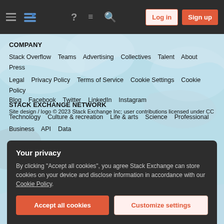Stack Overflow navigation bar with hamburger menu, logo, help, chat, search icons, Log in and Sign up buttons
COMPANY
Stack Overflow  Teams  Advertising  Collectives  Talent  About  Press  Legal  Privacy Policy  Terms of Service  Cookie Settings  Cookie Policy
STACK EXCHANGE NETWORK
Technology  Culture & recreation  Life & arts  Science  Professional  Business  API  Data
Blog  Facebook  Twitter  LinkedIn  Instagram
Site design / logo © 2023 Stack Exchange Inc; user contributions licensed under CC
Your privacy
By clicking "Accept all cookies", you agree Stack Exchange can store cookies on your device and disclose information in accordance with our Cookie Policy.
Accept all cookies  Customize settings